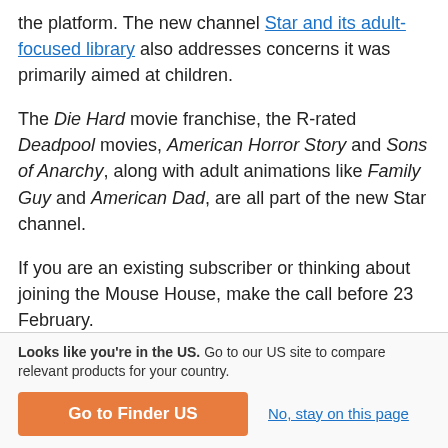the platform. The new channel Star and its adult-focused library also addresses concerns it was primarily aimed at children.
The Die Hard movie franchise, the R-rated Deadpool movies, American Horror Story and Sons of Anarchy, along with adult animations like Family Guy and American Dad, are all part of the new Star channel.
If you are an existing subscriber or thinking about joining the Mouse House, make the call before 23 February.
Looks like you're in the US. Go to our US site to compare relevant products for your country.
Go to Finder US
No, stay on this page